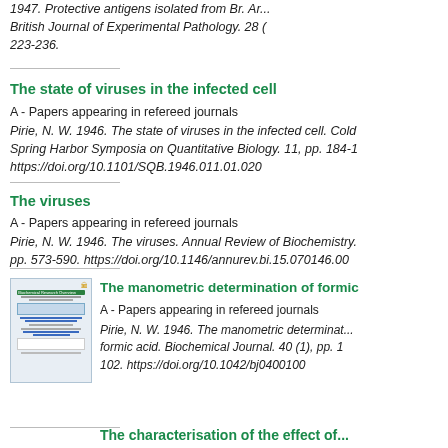1947. Protective antigens isolated from Br. Ar... British Journal of Experimental Pathology. 28 ( 223-236.
The state of viruses in the infected cell
A - Papers appearing in refereed journals
Pirie, N. W. 1946. The state of viruses in the infected cell. Cold Spring Harbor Symposia on Quantitative Biology. 11, pp. 184-1 https://doi.org/10.1101/SQB.1946.011.01.020
The viruses
A - Papers appearing in refereed journals
Pirie, N. W. 1946. The viruses. Annual Review of Biochemistry. pp. 573-590. https://doi.org/10.1146/annurev.bi.15.070146.00
The manometric determination of formic
A - Papers appearing in refereed journals
Pirie, N. W. 1946. The manometric determinat... formic acid. Biochemical Journal. 40 (1), pp. 1 102. https://doi.org/10.1042/bj0400100
The characterisation of the effect of...